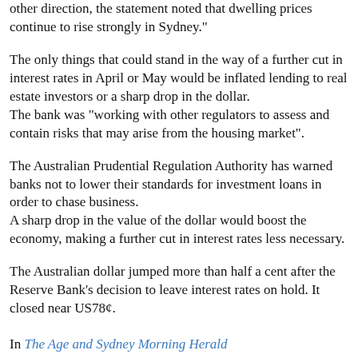other direction, the statement noted that dwelling prices continue to rise strongly in Sydney."
The only things that could stand in the way of a further cut in interest rates in April or May would be inflated lending to real estate investors or a sharp drop in the dollar. The bank was "working with other regulators to assess and contain risks that may arise from the housing market".
The Australian Prudential Regulation Authority has warned banks not to lower their standards for investment loans in order to chase business. A sharp drop in the value of the dollar would boost the economy, making a further cut in interest rates less necessary.
The Australian dollar jumped more than half a cent after the Reserve Bank's decision to leave interest rates on hold. It closed near US78¢.
In The Age and Sydney Morning Herald